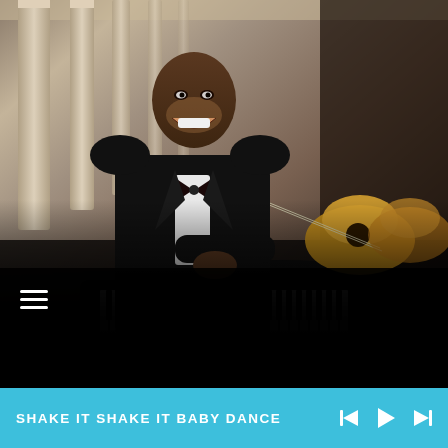[Figure (photo): A smiling man in a black tuxedo with bow tie leans on a grand piano in a formal setting with colonnade background. Guitars rest on the piano behind him. Scene is dark lit at the bottom.]
≡
SHAKE IT SHAKE IT BABY DANCE